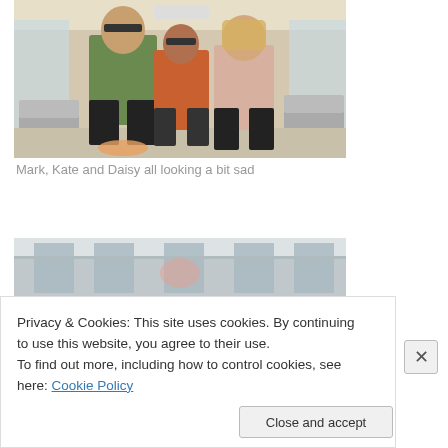[Figure (photo): Three people standing together in what appears to be an airport or transit lounge. A man on the left wearing sunglasses and a green t-shirt, a woman in the middle with sunglasses and a striped top, and a young woman on the right with blonde hair.]
Mark, Kate and Daisy all looking a bit sad
[Figure (photo): Partial view of an indoor space, appears to be an airport or building interior with windows and ceiling visible.]
Privacy & Cookies: This site uses cookies. By continuing to use this website, you agree to their use.
To find out more, including how to control cookies, see here: Cookie Policy